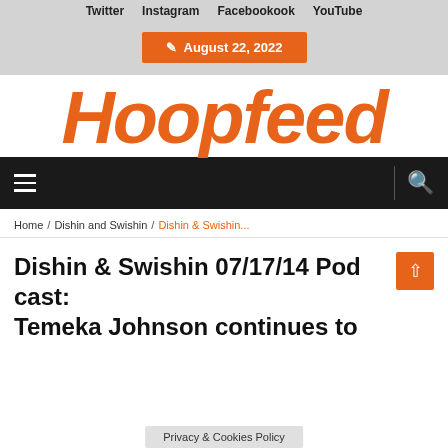Twitter   Instagram   Facebookook   YouTube
August 22, 2022
[Figure (logo): Hoopfeed logo in orange italic bold text]
[Figure (screenshot): Dark navigation bar with hamburger menu icon on left and search icon on right]
Home / Dishin and Swishin / Dishin & Swishin...
Dishin & Swishin 07/17/14 Podcast: Temeka Johnson continues to
Privacy & Cookies Policy